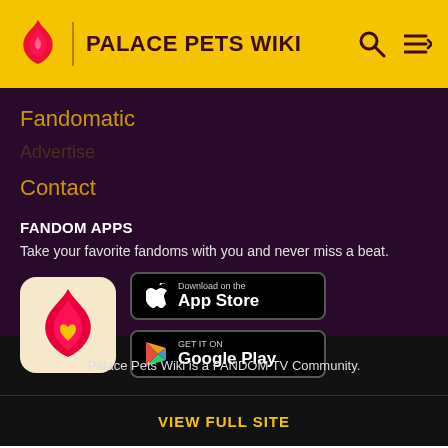PALACE PETS WIKI
Fandomatic
Contact
FANDOM APPS
Take your favorite fandoms with you and never miss a beat.
[Figure (logo): Fandom app icon: pink/red flame with yellow heart on cream background]
[Figure (screenshot): Download on the App Store button (black)]
[Figure (screenshot): GET IT ON Google Play button (black)]
Palace Pets Wiki is a FANDOM TV Community.
VIEW FULL SITE